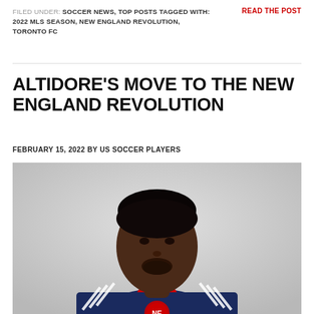FILED UNDER: SOCCER NEWS, TOP POSTS TAGGED WITH: 2022 MLS SEASON, NEW ENGLAND REVOLUTION, TORONTO FC
READ THE POST
ALTIDORE'S MOVE TO THE NEW ENGLAND REVOLUTION
FEBRUARY 15, 2022 BY US SOCCER PLAYERS
[Figure (photo): Photo of Jozy Altidore wearing a dark navy blue New England Revolution Adidas jersey with red collar, looking at the camera against a light grey background.]